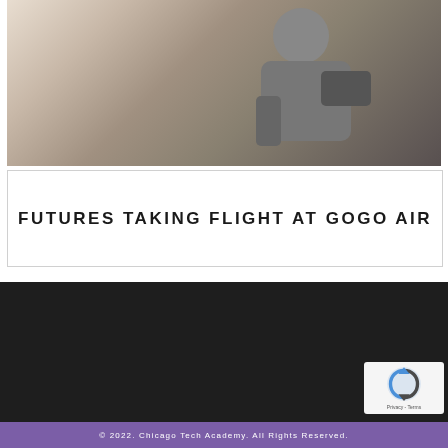[Figure (photo): Black and white photograph of a person, partially cropped, appearing to be operating or interacting with equipment. Upper body visible, wearing a sweater/knit top.]
FUTURES TAKING FLIGHT AT GOGO AIR
© 2022. Chicago Tech Academy. All Rights Reserved.